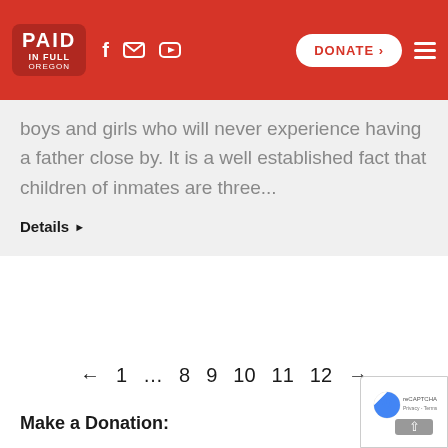PAID IN FULL OREGON | Social icons | DONATE | Menu
boys and girls who will never experience having a father close by. It is a well established fact that children of inmates are three...
Details ▶
← 1 … 8 9 10 11 12 →
Make a Donation: